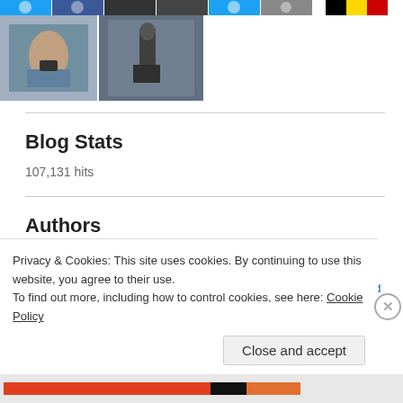[Figure (photo): Two rows of thumbnail images at top of page including social media icons, photos, and a Belgian flag strip on the right]
Blog Stats
107,131 hits
Authors
geoffreyandmika
People have gone down this spiral of cancel culture and the
Privacy & Cookies: This site uses cookies. By continuing to use this website, you agree to their use.
To find out more, including how to control cookies, see here: Cookie Policy
Close and accept